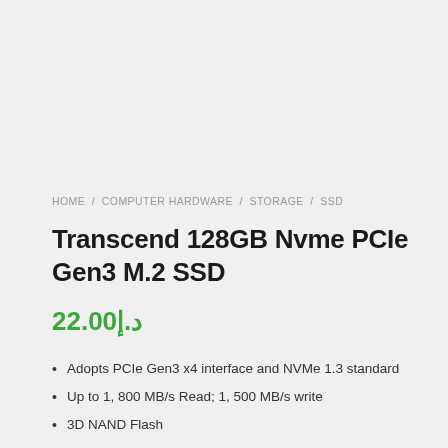HOME / COMPUTER HARDWARE / STORAGE / SSD
Transcend 128GB Nvme PCIe Gen3 M.2 SSD
22.00د.إ
Adopts PCIe Gen3 x4 interface and NVMe 1.3 standard
Up to 1, 800 MB/s Read; 1, 500 MB/s write
3D NAND Flash